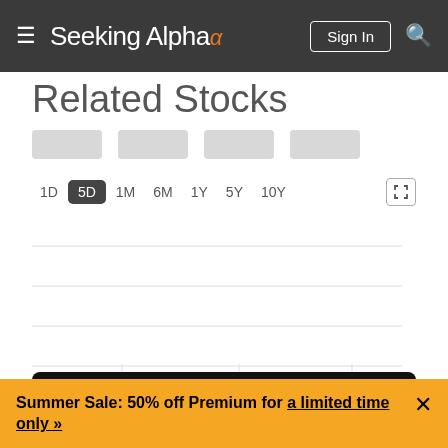Seeking Alpha — Sign In
Related Stocks
[Figure (screenshot): Four gray placeholder stock card thumbnails in a row]
[Figure (other): Time period selector with options 1D, 5D (active/highlighted), 1M, 6M, 1Y, 5Y, 10Y and expand icon, with empty chart grid lines below]
Compare
Summer Sale: 50% off Premium for a limited time only »